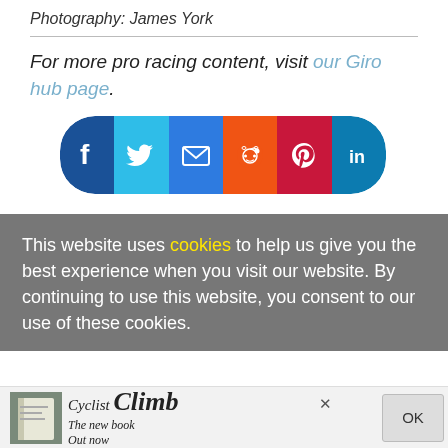Photography: James York
For more pro racing content, visit our Giro hub page.
[Figure (infographic): Social media share buttons bar with icons for Facebook, Twitter, Email, Reddit, Pinterest, and LinkedIn]
This website uses cookies to help us give you the best experience when you visit our website. By continuing to use this website, you consent to our use of these cookies.
[Figure (infographic): Advertisement bar at bottom: Cyclist Climb book ad with close button and OK button]